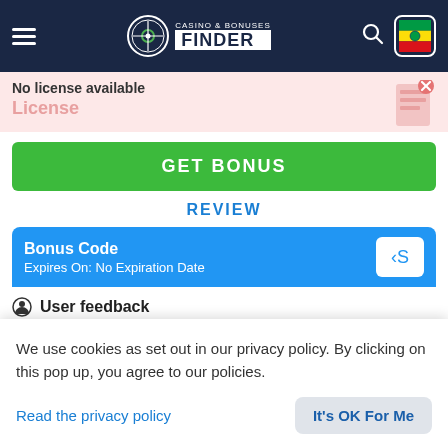CASINO & BONUSES FINDER
No license available
License
GET BONUS
REVIEW
Bonus Code
Expires On: No Expiration Date
User feedback
3 GOOD
3 BAD
We use cookies as set out in our privacy policy. By clicking on this pop up, you agree to our policies.
Read the privacy policy
It's OK For Me